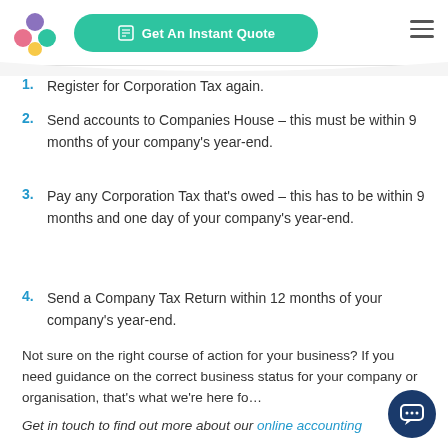Get An Instant Quote
1. Register for Corporation Tax again.
2. Send accounts to Companies House – this must be within 9 months of your company's year-end.
3. Pay any Corporation Tax that's owed – this has to be within 9 months and one day of your company's year-end.
4. Send a Company Tax Return within 12 months of your company's year-end.
Not sure on the right course of action for your business? If you need guidance on the correct business status for your company or organisation, that's what we're here fo…
Get in touch to find out more about our online accounting